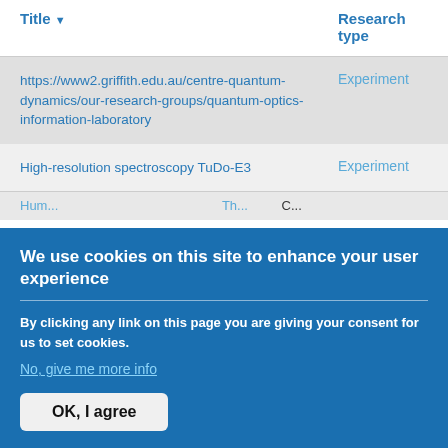| Title | Research type | Country |
| --- | --- | --- |
| https://www2.griffith.edu.au/centre-quantum-dynamics/our-research-groups/quantum-optics-information-laboratory | Experiment | Australia |
| High-resolution spectroscopy TuDo-E3 | Experiment | Germany |
| [partial row cut off] | The | C |
We use cookies on this site to enhance your user experience
By clicking any link on this page you are giving your consent for us to set cookies.
No, give me more info
OK, I agree